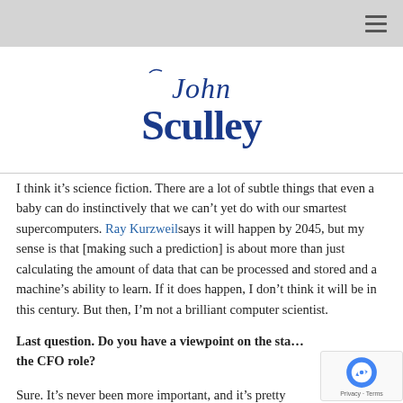[Figure (logo): John Sculley signature logo in dark blue, stylized script and serif typography]
I think it’s science fiction. There are a lot of subtle things that even a baby can do instinctively that we can’t yet do with our smartest supercomputers. Ray Kurzweil says it will happen by 2045, but my sense is that [making such a prediction] is about more than just calculating the amount of data that can be processed and stored and a machine’s ability to learn. If it does happen, I don’t think it will be in this century. But then, I’m not a brilliant computer scientist.
Last question. Do you have a viewpoint on the sta… the CFO role?
Sure. It’s never been more important, and it’s pretty…